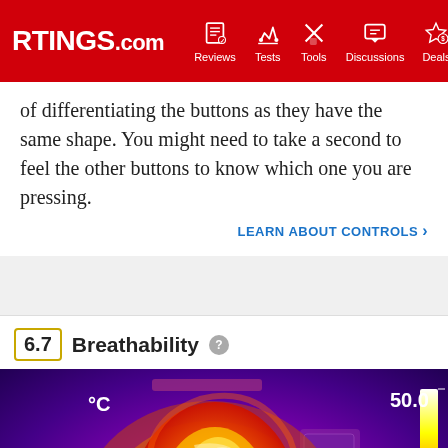RTINGS.com | Reviews | Tests | Tools | Discussions | Deals
of differentiating the buttons as they have the same shape. You might need to take a second to feel the other buttons to know which one you are pressing.
LEARN ABOUT CONTROLS >
6.7 Breathability
[Figure (photo): Thermal camera image of a human ear wearing a headphone ear pad. The image shows a heat map in purple/orange/yellow colors with a temperature scale showing 50.0°C and the unit °C displayed.]